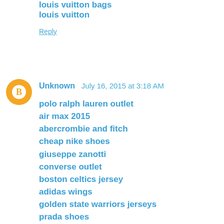louis vuitton bags
louis vuitton
Reply
Unknown  July 16, 2015 at 3:18 AM
polo ralph lauren outlet
air max 2015
abercrombie and fitch
cheap nike shoes
giuseppe zanotti
converse outlet
boston celtics jersey
adidas wings
golden state warriors jerseys
prada shoes
rolex watches
coach outlet store
oakley sunglasses
oakley sunglasses
kansas city chiefs jerseys
longchamp outlet